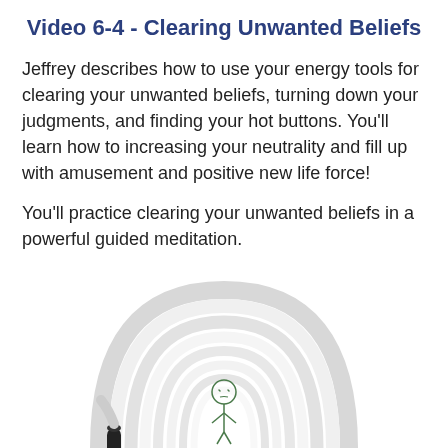Video 6-4 - Clearing Unwanted Beliefs
Jeffrey describes how to use your energy tools for clearing your unwanted beliefs, turning down your judgments, and finding your hot buttons. You’ll learn how to increasing your neutrality and fill up with amusement and positive new life force!
You’ll practice clearing your unwanted beliefs in a powerful guided meditation.
[Figure (illustration): A cartoon stick figure person surrounded by concentric white arch/tunnel shapes, resembling a person inside a coiled tube or hose, with a black cylindrical object at the bottom left.]